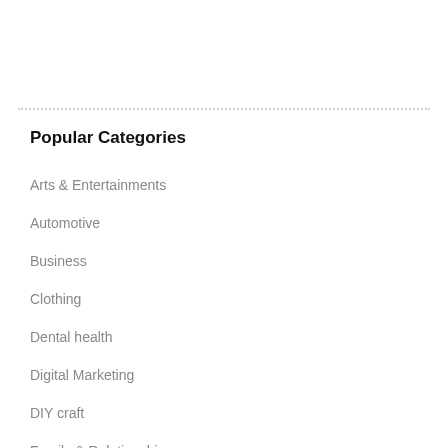Popular Categories
Arts & Entertainments
Automotive
Business
Clothing
Dental health
Digital Marketing
DIY craft
Family & Relationship
Finance